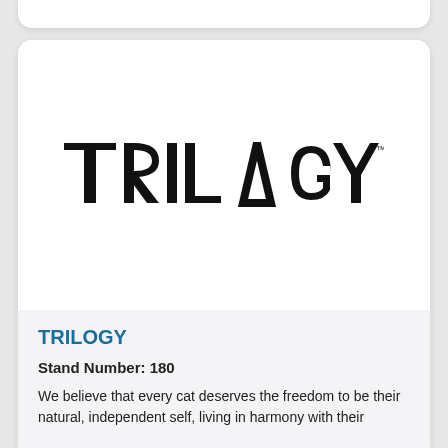[Figure (logo): TRILOGY brand logo in large black serif/sans-serif capitals with a triangle replacing the letter A, and a TM superscript mark]
TRILOGY
Stand Number: 180
We believe that every cat deserves the freedom to be their natural, independent self, living in harmony with their